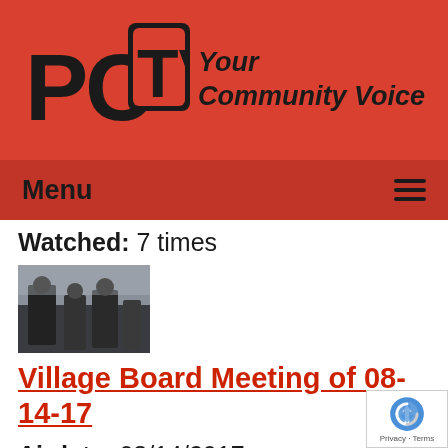PCTV — Your Community Voice
Menu
Watched: 7 times
[Figure (photo): Thumbnail image of a village board meeting showing people in a room]
Village Board Meeting of 08-14-17
Airdate: 08/14/2017
Watched: 28 times